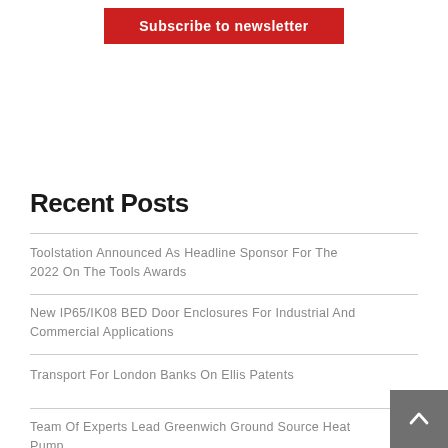Subscribe to newsletter
Recent Posts
Toolstation Announced As Headline Sponsor For The 2022 On The Tools Awards
New IP65/IK08 BED Door Enclosures For Industrial And Commercial Applications
Transport For London Banks On Ellis Patents
Team Of Experts Lead Greenwich Ground Source Heat Pump